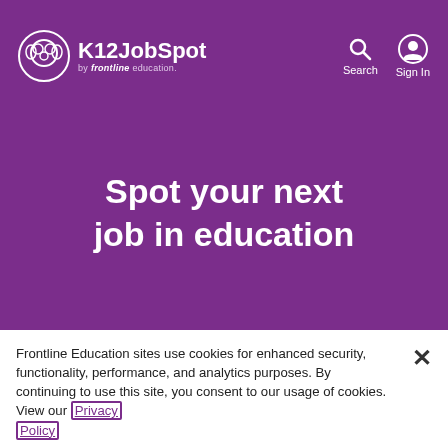K12JobSpot by frontline education. Search. Sign In.
Spot your next job in education
Frontline Education sites use cookies for enhanced security, functionality, performance, and analytics purposes. By continuing to use this site, you consent to our usage of cookies. View our Privacy Policy